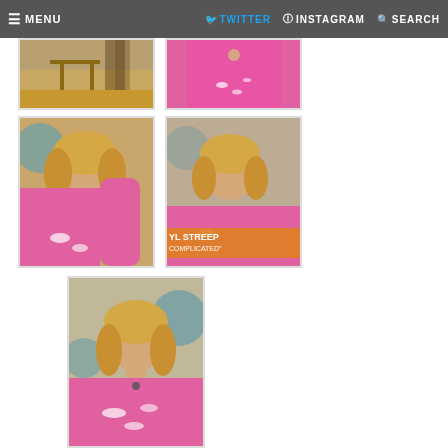≡ MENU   🐦 TWITTER   Ⓘ INSTAGRAM   🔍 SEARCH
[Figure (photo): Partial photo showing a table/furniture on a TV show set]
[Figure (photo): Partial photo of a woman in a pink top with white floral embroidery]
[Figure (photo): Meryl Streep in a pink top laughing and touching her hair on a TV show set]
[Figure (photo): Meryl Streep in a pink top smiling on a TV show, lower third graphic reads YL STREEP COMPLICATED]
[Figure (photo): Meryl Streep in a pink top smiling, centered portrait shot on TV show set]